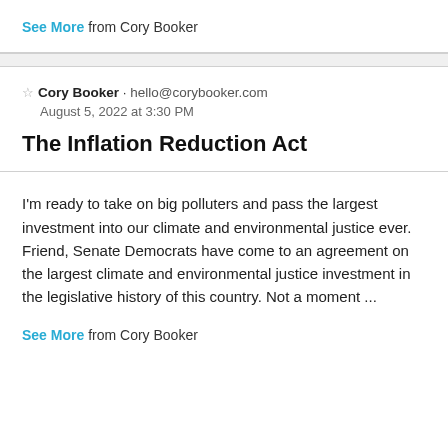See More from Cory Booker
☆ Cory Booker · hello@corybooker.com
August 5, 2022 at 3:30 PM
The Inflation Reduction Act
I'm ready to take on big polluters and pass the largest investment into our climate and environmental justice ever.  Friend, Senate Democrats have come to an agreement on the largest climate and environmental justice investment in the legislative history of this country. Not a moment ...
See More from Cory Booker